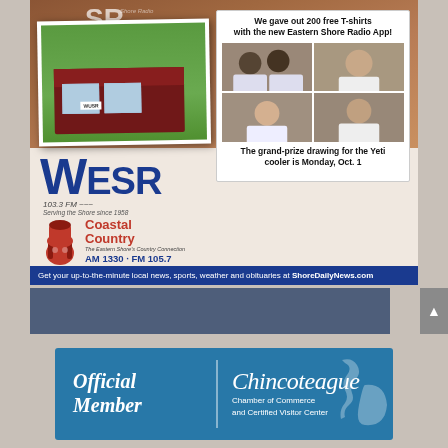[Figure (photo): WESR radio station advertisement with two photos of the station building (vintage sepia and modern), four photos of people holding T-shirts, WESR 103.3 FM logo, Coastal Country AM 1330 FM 105.7 logo]
We gave out 200 free T-shirts with the new Eastern Shore Radio App!
The grand-prize drawing for the Yeti cooler is Monday, Oct. 1
Get your up-to-the-minute local news, sports, weather and obituaries at ShoreDailyNews.com
[Figure (photo): Chincoteague Chamber of Commerce Official Member banner ad with white script text, vertical divider, Chincoteague script logo and starfish/shell icon]
Official Member
Chincoteague Chamber of Commerce and Certified Visitor Center